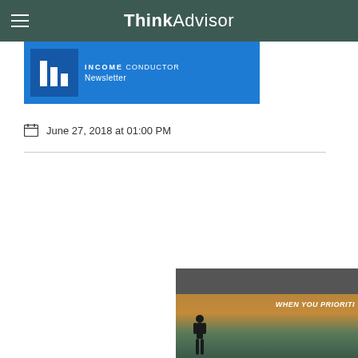ThinkAdvisor
[Figure (screenshot): Income Conductor Newsletter banner with blue background, grid logo icon, and text 'INCOME CONDUCTOR Newsletter']
June 27, 2018 at 01:00 PM
[Figure (photo): Partial view of a person on water at sunset with text 'WHEN YOU PRIORITI...' overlaid]